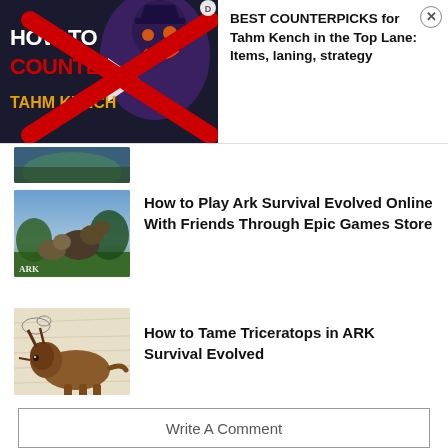[Figure (screenshot): Video thumbnail for 'How to Counter Tahm Kench' with a play button and large red X overlay]
BEST COUNTERPICKS for Tahm Kench in the Top Lane: Items, laning, strategy
[Figure (screenshot): Thumbnail image for Ark Survival Evolved article showing dinosaurs fighting outdoors]
How to Play Ark Survival Evolved Online With Friends Through Epic Games Store
[Figure (illustration): Thumbnail illustration of a Triceratops dinosaur with sketched background for ARK Survival Evolved taming guide]
How to Tame Triceratops in ARK Survival Evolved
Write A Comment